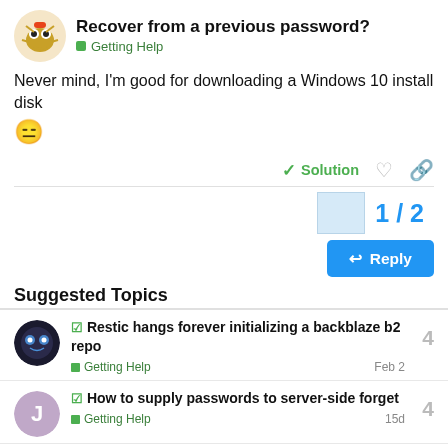Recover from a previous password? | Getting Help
Never mind, I'm good for downloading a Windows 10 install disk 😑
Solution
1 / 2
Reply
Suggested Topics
Restic hangs forever initializing a backblaze b2 repo | Getting Help | Feb 2 | 4 replies
How to supply passwords to server-side forget | Getting Help | 15d | 4 replies